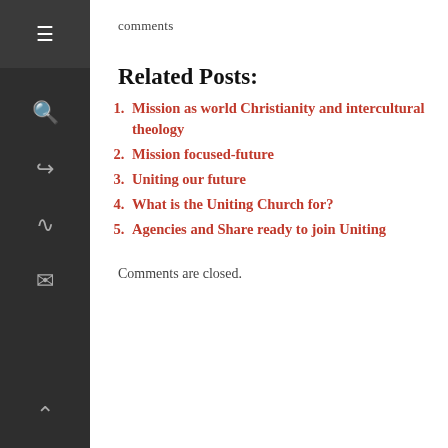comments
Related Posts:
Mission as world Christianity and intercultural theology
Mission focused-future
Uniting our future
What is the Uniting Church for?
Agencies and Share ready to join Uniting
Comments are closed.